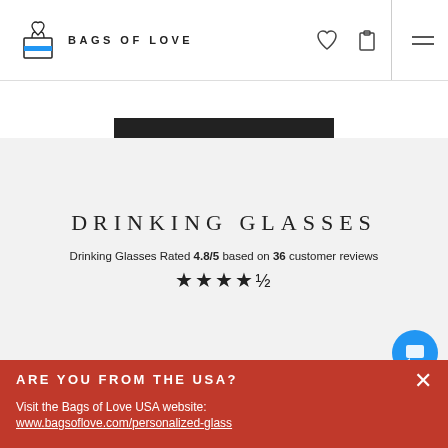BAGS OF LOVE
DRINKING GLASSES
Drinking Glasses Rated 4.8/5 based on 36 customer reviews ★★★★½
ARE YOU FROM THE USA?
Visit the Bags of Love USA website:
www.bagsoflove.com/personalized-glass